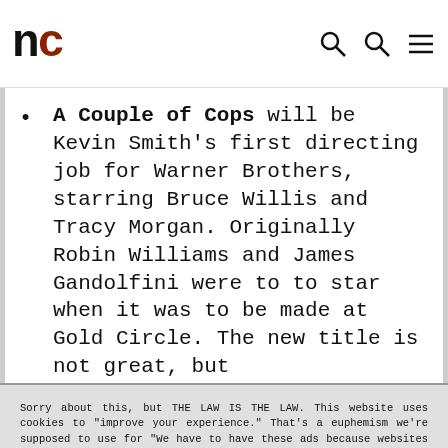nc — logo with search icons and menu
A Couple of Cops will be Kevin Smith's first directing job for Warner Brothers, starring Bruce Willis and Tracy Morgan. Originally Robin Williams and James Gandolfini were to to star when it was to be made at Gold Circle. The new title is not great, but
Sorry about this, but THE LAW IS THE LAW. This website uses cookies to "improve your experience." That's a euphemism we're supposed to use for "We have to have these ads because websites cost money." The cookies and/or scripts we use are mostly from Google Analytics, AdSense, and YouTube. However we've instructed Google to anonymize any data that they collect. Just so you know. We'll assume you're ok with this, but you can opt-out if you wish. Just bear in mind, certain embeds and such might not work.<br /> <br /> Also, please be aware that when we link out to products, we may earn a commission for doing so. Because we're certainly not doing it for our health. See our privacy policy & terms of use for more info than you would ever want to know. - Privacy Policy & Terms of Use
Accept | Decline | Cookie Settings